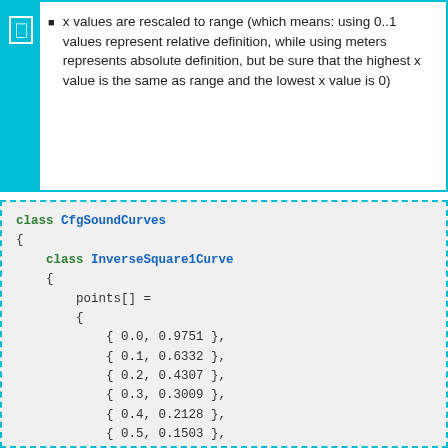x values are rescaled to range (which means: using 0..1 values represent relative definition, while using meters represents absolute definition, but be sure that the highest x value is the same as range and the lowest x value is 0)
class CfgSoundCurves
{
    class InverseSquare1Curve
    {
        points[] =
        {
            { 0.0, 0.9751 },
            { 0.1, 0.6332 },
            { 0.2, 0.4307 },
            { 0.3, 0.3009 },
            { 0.4, 0.2128 },
            { 0.5, 0.1503 },
            { 0.6, 0.1043 },
            { 0.7, 0.0695 },
            { 0.8, 0.0426 },
            [ 0.9, 0.0212 ]